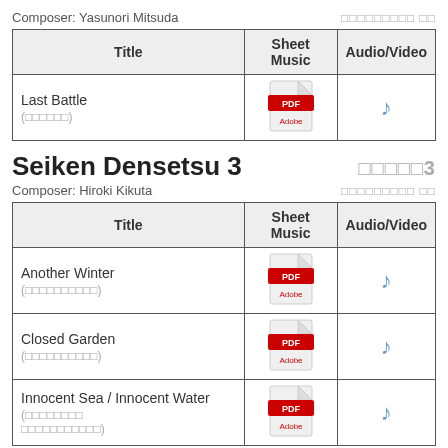Composer: Yasunori Mitsuda
| Title | Sheet Music | Audio/Video |
| --- | --- | --- |
| Last Battle
(□□□□□□) | PDF icon | music note |
Seiken Densetsu 3
Composer: Hiroki Kikuta
| Title | Sheet Music | Audio/Video |
| --- | --- | --- |
| Another Winter
(□□□□□□□□□□) | PDF icon | music note |
| Closed Garden
(□□□□□□□□□□) | PDF icon | music note |
| Innocent Sea / Innocent Water
(□□□□□□□□
□□□□□□□□□□□) | PDF icon | music note |